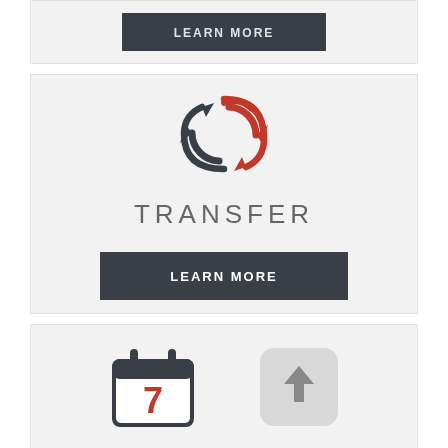[Figure (other): Top card with LEARN MORE button on dark background, partially visible at top of page]
[Figure (infographic): Transfer card with red and dark grey circular arrows icon, TRANSFER text label, and LEARN MORE button]
[Figure (infographic): Bottom card partially visible showing a calendar icon with number 7 in red, and an upload/arrow icon on the right]